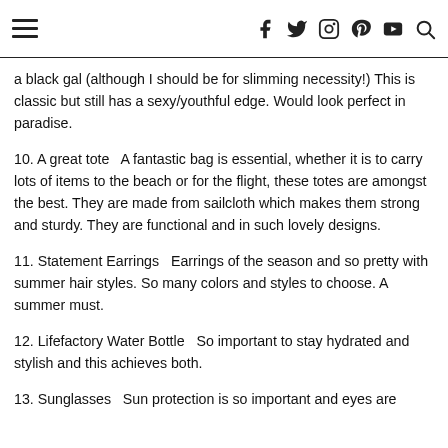≡  f  𝕏  ⊙  ⊕  ▶  🔍
a black gal (although I should be for slimming necessity!) This is classic but still has a sexy/youthful edge. Would look perfect in paradise.
10. A great tote  A fantastic bag is essential, whether it is to carry lots of items to the beach or for the flight, these totes are amongst the best. They are made from sailcloth which makes them strong and sturdy. They are functional and in such lovely designs.
11. Statement Earrings  Earrings of the season and so pretty with summer hair styles. So many colors and styles to choose. A summer must.
12. Lifefactory Water Bottle  So important to stay hydrated and stylish and this achieves both.
13. Sunglasses  Sun protection is so important and eyes are